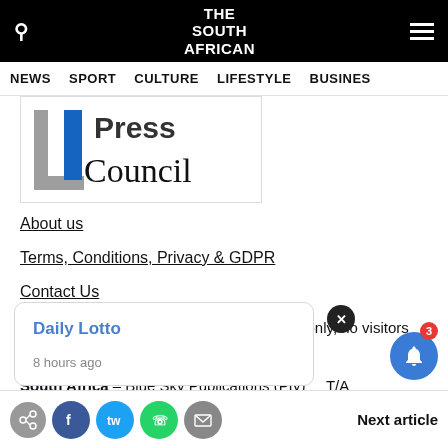THE SOUTH AFRICAN
NEWS  SPORT  CULTURE  LIFESTYLE  BUSINESS
[Figure (logo): Press Council logo with stylized 'L' shape in grey and blue, with text 'Press Council']
About us
Terms, Conditions, Privacy & GDPR
Contact Us
Our offices are for administrative purposes only, no visitors will be accepted without an appointment.
South Africa – Blue Sky Publications (Pty) T/A
Daily Lotto
8 hours ago
Next article